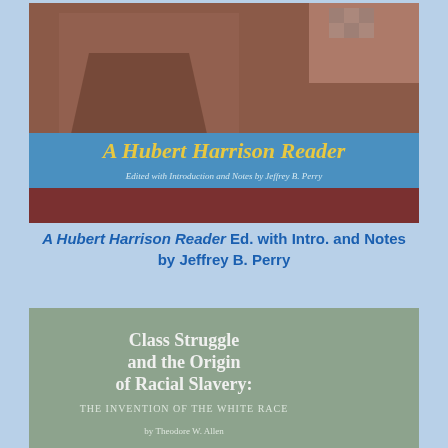[Figure (photo): Book cover of 'A Hubert Harrison Reader' edited with Introduction and Notes by Jeffrey B. Perry. Shows a man in a suit with a blue banner across the middle displaying the title in gold text.]
A Hubert Harrison Reader Ed. with Intro. and Notes by Jeffrey B. Perry
[Figure (photo): Book cover of 'Class Struggle and the Origin of Racial Slavery: The Invention of the White Race' by Theodore W. Allen. Green/grey cover with white text.]